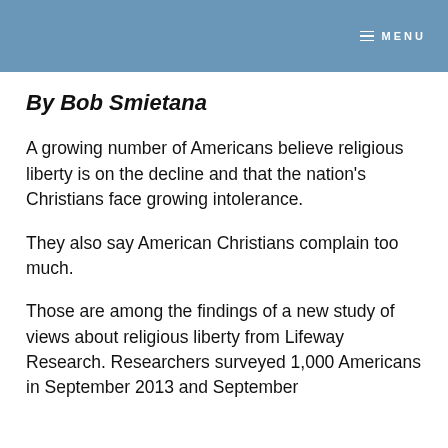MENU
By Bob Smietana
A growing number of Americans believe religious liberty is on the decline and that the nation's Christians face growing intolerance.
They also say American Christians complain too much.
Those are among the findings of a new study of views about religious liberty from Lifeway Research. Researchers surveyed 1,000 Americans in September 2013 and September